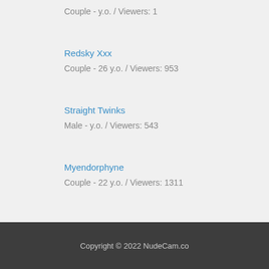Couple - y.o. / Viewers: 1
Redsky Xxx
Couple - 26 y.o. / Viewers: 953
Straight Twinks
Male - y.o. / Viewers: 543
Myendorphyne
Couple - 22 y.o. / Viewers: 1311
Copyright © 2022 NudeCam.co